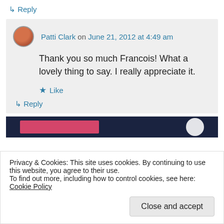↳ Reply
Patti Clark on June 21, 2012 at 4:49 am
Thank you so much Francois! What a lovely thing to say. I really appreciate it.
★ Like
↳ Reply
Privacy & Cookies: This site uses cookies. By continuing to use this website, you agree to their use.
To find out more, including how to control cookies, see here: Cookie Policy